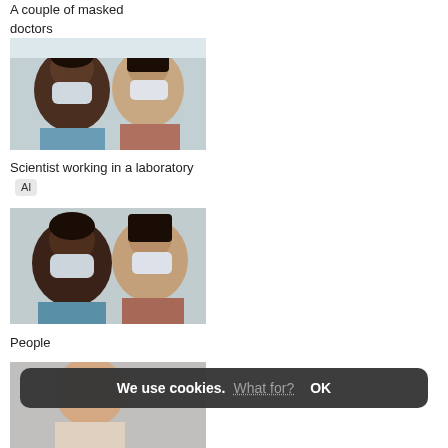A couple of masked doctors
[Figure (photo): Two masked doctors, one Black male and one Asian female, wearing surgical masks and blue scrubs]
Scientist working in a laboratory AI
[Figure (photo): Same two masked doctors photo repeated below the caption]
People
[Figure (photo): Partial image of person at bottom left]
[Figure (photo): Doctor in white coat and blue gloves holding something, partially cropped at top right]
Doctor and patient in the hospital AI
[Figure (photo): Female nurse or dentist in green scrubs, blue hair net, and white mask, arms crossed, in a clinical setting]
Modern dentistry
We use cookies. What for? OK